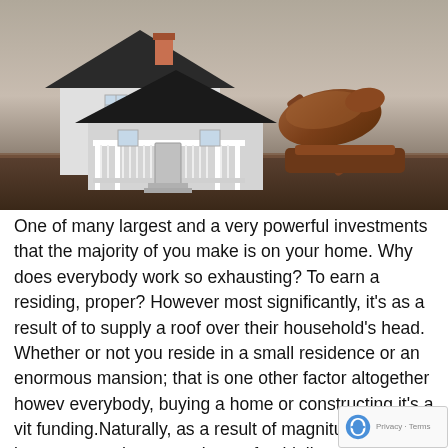[Figure (photo): A model house next to a judge's wooden gavel on a wooden surface with a blurred gray background, symbolizing real estate law or home auction.]
One of many largest and a very powerful investments that the majority of you make is on your home. Why does everybody work so exhausting? To earn a residing, proper? However most significantly, it's as a result of to supply a roof over their household's head. Whether or not you reside in a small residence or an enormous mansion; that is one other factor altogether however everybody, buying a home or constructing it's a vital funding.Naturally, as a result of magnitude of such investments, there are plenty of guidelines and laws that